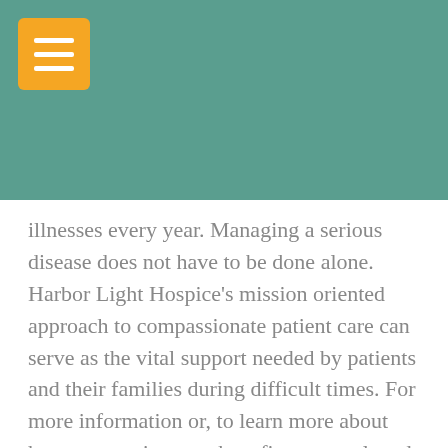[Figure (other): Teal/green header bar with orange hamburger menu button in top left corner]
illnesses every year. Managing a serious disease does not have to be done alone. Harbor Light Hospice's mission oriented approach to compassionate patient care can serve as the vital support needed by patients and their families during difficult times. For more information or, to learn more about how our services can benefit you or a loved one - call Harbor Light Hospice or contact us online today.